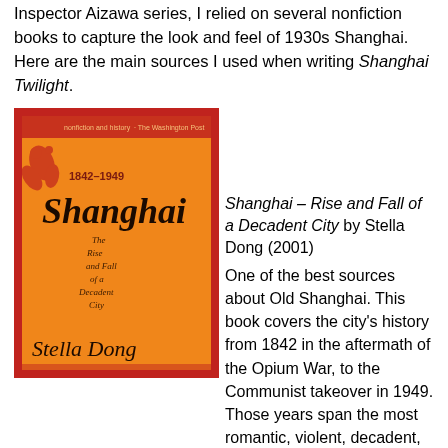Inspector Aizawa series, I relied on several nonfiction books to capture the look and feel of 1930s Shanghai. Here are the main sources I used when writing Shanghai Twilight.
[Figure (photo): Book cover of Shanghai 1842-1949: The Rise and Fall of a Decadent City by Stella Dong. Orange and red cover with decorative floral motif and cursive title text.]
Shanghai – Rise and Fall of a Decadent City by Stella Dong (2001)
One of the best sources about Old Shanghai. This book covers the city's history from 1842 in the aftermath of the Opium War, to the Communist takeover in 1949. Those years span the most romantic, violent, decadent, corrupt, and vibrant era of Shanghai's history, a zeitgeist that many fiction writers strive to capture. Dong's book goes into detail about the financial and business taipans who helped build